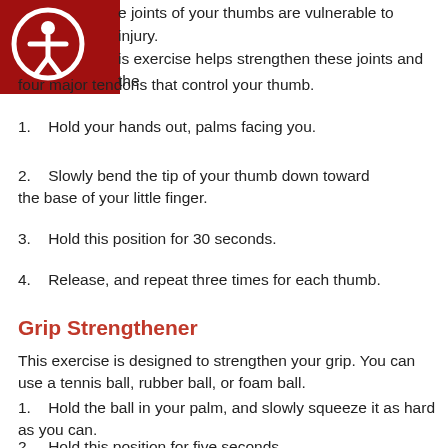e joints of your thumbs are vulnerable to injury. is exercise helps strengthen these joints and the four major tendons that control your thumb.
1.   Hold your hands out, palms facing you.
2.   Slowly bend the tip of your thumb down toward the base of your little finger.
3.   Hold this position for 30 seconds.
4.   Release, and repeat three times for each thumb.
Grip Strengthener
This exercise is designed to strengthen your grip. You can use a tennis ball, rubber ball, or foam ball.
1.   Hold the ball in your palm, and slowly squeeze it as hard as you can.
2.   Hold this position for five seconds.
3.   Release, and repeat five times for each hand.